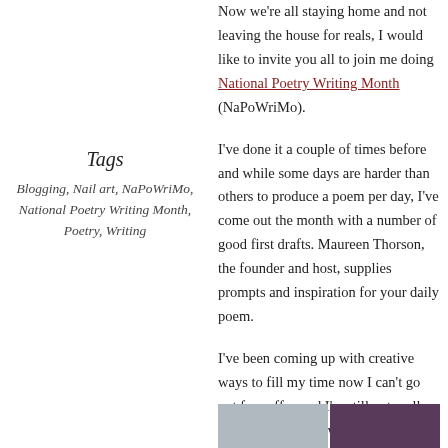Now we’re all staying home and not leaving the house for reals, I would like to invite you all to join me doing National Poetry Writing Month (NaPoWriMo).
Tags
Blogging, Nail art, NaPoWriMo, National Poetry Writing Month, Poetry, Writing
I’ve done it a couple of times before and while some days are harder than others to produce a poem per day, I’ve come out the month with a number of good first drafts. Maureen Thorson, the founder and host, supplies prompts and inspiration for your daily poem.
I’ve been coming up with creative ways to fill my time now I can’t go out for coffee and I’m still not really allowed to walk (I was upgraded to 25% weight-bearing last week which was amazing, we we still have a way to go). I have set myself up with all the materials to paint a mural and I’ve spent a fair amount of time doing semi-intricate nail art projects.
[Figure (photo): Two photos side by side at the bottom of the page]